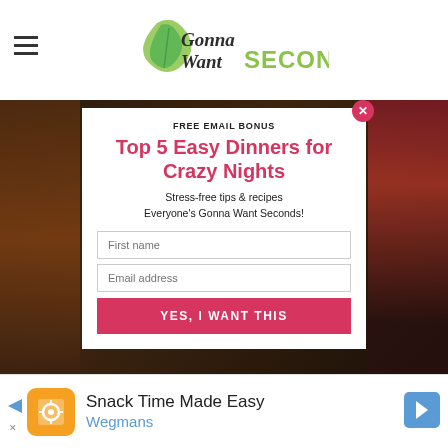Gonna Want SECONDS
FREE EMAIL BONUS
Top 5 Easy Dinners for Crazy Nights
Stress-free tips & recipes Everyone's Gonna Want Seconds!
First name
Email address
YES, I WANT THIS
[Figure (screenshot): Advertisement banner: Snack Time Made Easy - Wegmans]
Snack Time Made Easy Wegmans